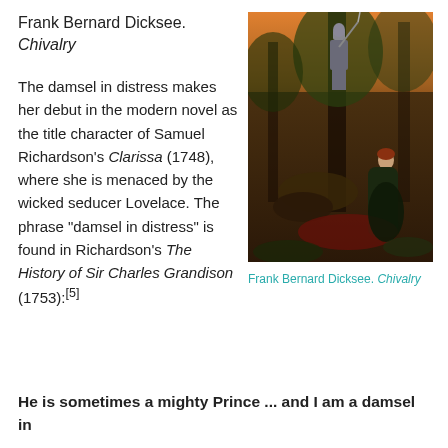Frank Bernard Dicksee. Chivalry
[Figure (illustration): Painting by Frank Bernard Dicksee titled Chivalry, depicting a knight in armor and a woman in a dark dress in a forest setting.]
Frank Bernard Dicksee. Chivalry
The damsel in distress makes her debut in the modern novel as the title character of Samuel Richardson's Clarissa (1748), where she is menaced by the wicked seducer Lovelace. The phrase “damsel in distress” is found in Richardson’s The History of Sir Charles Grandison (1753):[5]
He is sometimes a mighty Prince ... and I am a damsel in